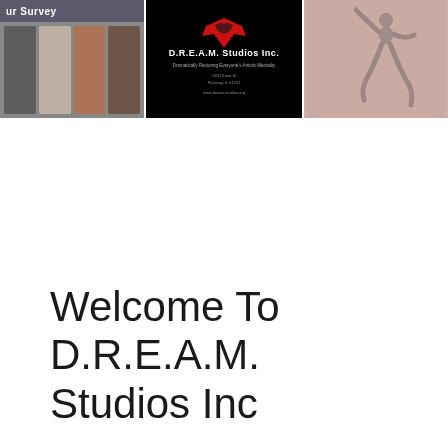[Figure (photo): Three side-by-side images: left shows a group photo of children/youth with 'ur Survey' text overlay; center shows D.R.E.A.M. Studios Inc. logo on black background with contact information; right shows a dancer silhouette in a pink-tinted background.]
Welcome To D.R.E.A.M. Studios Inc